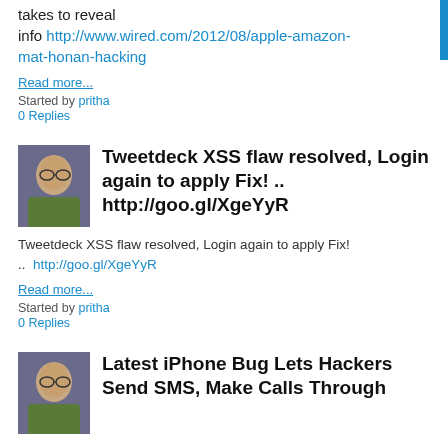takes to reveal info http://www.wired.com/2012/08/apple-amazon-mat-honan-hacking
Read more...
Started by pritha
0 Replies
Tweetdeck XSS flaw resolved, Login again to apply Fix! .. http://goo.gl/XgeYyR
Tweetdeck XSS flaw resolved, Login again to apply Fix! ..  http://goo.gl/XgeYyR
Read more...
Started by pritha
0 Replies
Latest iPhone Bug Lets Hackers Send SMS, Make Calls Through